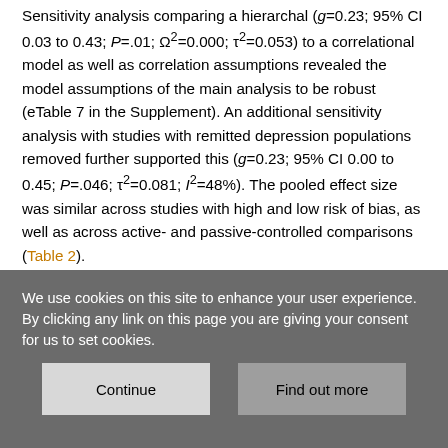Sensitivity analysis comparing a hierarchal (g=0.23; 95% CI 0.03 to 0.43; P=.01; Ω²=0.000; τ²=0.053) to a correlational model as well as correlation assumptions revealed the model assumptions of the main analysis to be robust (eTable 7 in the Supplement). An additional sensitivity analysis with studies with remitted depression populations removed further supported this (g=0.23; 95% CI 0.00 to 0.45; P=.046; τ²=0.081; I²=48%). The pooled effect size was similar across studies with high and low risk of bias, as well as across active- and passive-controlled comparisons (Table 2).
Meta-regressions
Results of meta-regressions of categorical moderators for overall